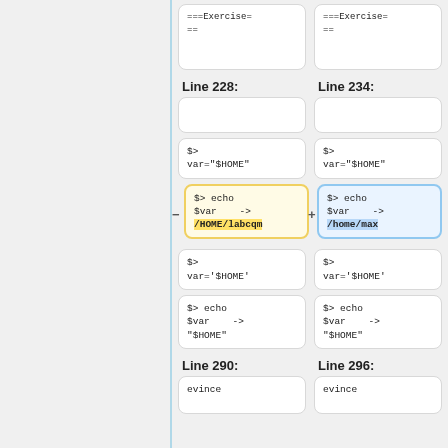[Figure (screenshot): Two-column diff view showing code comparison. Left column: Line 228, right column: Line 234. Each column shows code boxes with shell commands. The middle diff row highlights '===Exercise===' text at top, then line-by-line shell variable echoes. The differing line shows '/HOME/labcqm' (yellow highlight, minus) vs '/home/max' (blue highlight, plus). Bottom rows show Line 290 and Line 296 labels with 'evince' text.]